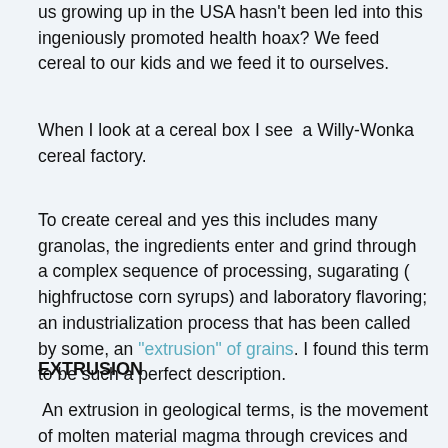us growing up in the USA hasn't been led into this ingeniously promoted health hoax? We feed cereal to our kids and we feed it to ourselves.
When I look at a cereal box I see  a Willy-Wonka cereal factory.
To create cereal and yes this includes many granolas, the ingredients enter and grind through a complex sequence of processing, sugarating ( highfructose corn syrups) and laboratory flavoring; an industrialization process that has been called by some, an "extrusion" of grains. I found this term to be such a perfect description.
EXTRUSION
An extrusion in geological terms, is the movement of molten material magma through crevices and cracks in the earth's